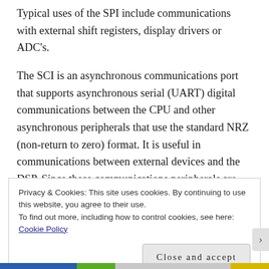Typical uses of the SPI include communications with external shift registers, display drivers or ADC's.
The SCI is an asynchronous communications port that supports asynchronous serial (UART) digital communications between the CPU and other asynchronous peripherals that use the standard NRZ (non-return to zero) format. It is useful in communications between external devices and the DSP. Since these communications peripherals are not directly related to motor control applications, they will not be
Privacy & Cookies: This site uses cookies. By continuing to use this website, you agree to their use.
To find out more, including how to control cookies, see here: Cookie Policy
Close and accept